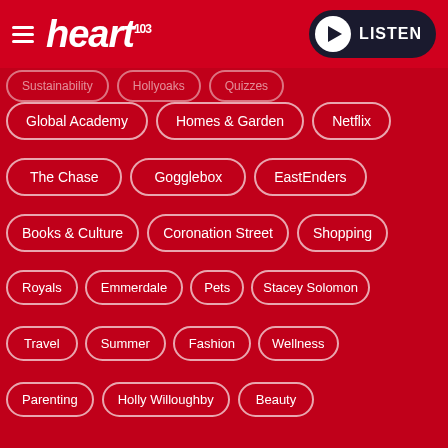[Figure (logo): Heart radio logo with hamburger menu and LISTEN button]
Sustainability | Hollyoaks | Quizzes (partially visible top row)
Global Academy
Homes & Garden
Netflix
The Chase
Gogglebox
EastEnders
Books & Culture
Coronation Street
Shopping
Royals
Emmerdale
Pets
Stacey Solomon
Travel
Summer
Fashion
Wellness
Parenting
Holly Willoughby
Beauty